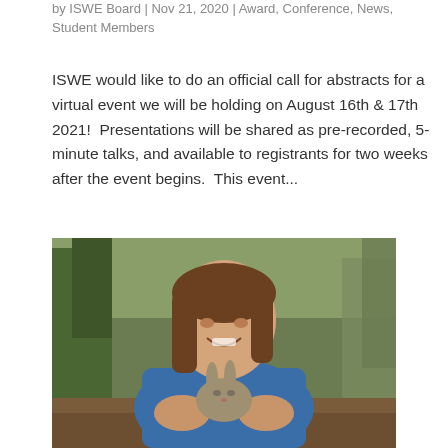by ISWE Board | Nov 21, 2020 | Award, Conference, News, Student Members
ISWE would like to do an official call for abstracts for a virtual event we will be holding on August 16th & 17th 2021!  Presentations will be shared as pre-recorded, 5-minute talks, and available to registrants for two weeks after the event begins.  This event...
[Figure (photo): A smiling young woman in a blue jacket holding a small rabbit, standing outdoors in a forested area with trees and brush in the background.]